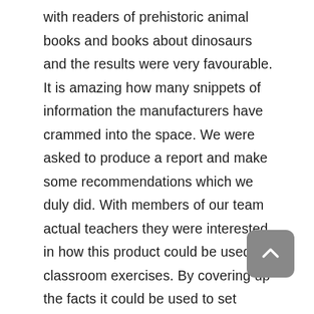with readers of prehistoric animal books and books about dinosaurs and the results were very favourable. It is amazing how many snippets of information the manufacturers have crammed into the space. We were asked to produce a report and make some recommendations which we duly did. With members of our team actual teachers they were interested in how this product could be used in classroom exercises. By covering up the facts it could be used to set animal quizzes and the wheel did provide an insight into animal diversity and evolution. Children were keen to use it and the carefully crafted mix of scientific terms helped get across some basic concepts as well as assisting with their reading skills. Best of all teacher, could secretly “crib up” on the prehistoric animal information in the hope of